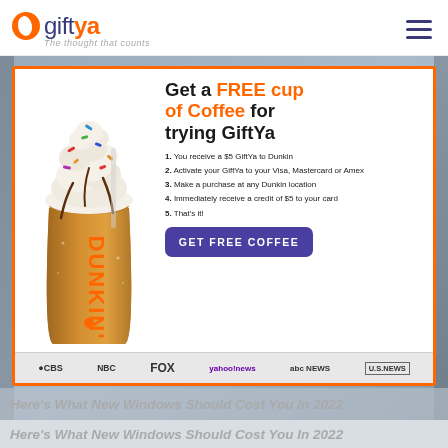[Figure (logo): GiftYa logo with orange circle icon, 'gift' in dark purple and 'ya' in orange, tagline 'The thought that counts']
[Figure (infographic): GiftYa advertisement: Dunkin' iced coffee cup with whipped cream and sprinkles on left. Right side: 'Get a FREE cup of Coffee for trying GiftYa' headline. Steps: 1. You receive a $5 GiftYa to Dunkin, 2. Activate your GiftYa to your Visa, Mastercard or Amex, 3. Make a purchase at any Dunkin location, 4. Immediately receive a credit of $5 to your card, 5. That's it! Purple 'GET FREE COFFEE' button. Media logos: CBS, NBC, FOX, yahoo! news, abc NEWS, U.S.NEWS]
Here's What New Windows Should Cost You In 2022